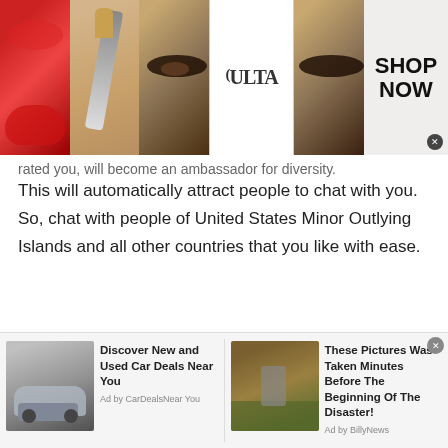[Figure (illustration): Ulta Beauty advertisement banner with makeup images (lips, brush, eye, Ulta logo, eye close-up) and SHOP NOW call to action]
...rated you, will become an ambassador for diversity.
This will automatically attract people to chat with you. So, chat with people of United States Minor Outlying Islands and all other countries that you like with ease.
3. Be empathetic:
Just imagine that you are on talkwithstranger and you are video chatting with the people of United States Minor Outlying Islands. Now, think for a
[Figure (screenshot): Bottom advertisement bar with two ads: 'Discover New and Used Car Deals Near You' by CarDealsNearYou, and 'These Pictures Was Taken Minutes Before The Beginning Of The Disaster!' by BillyNews]